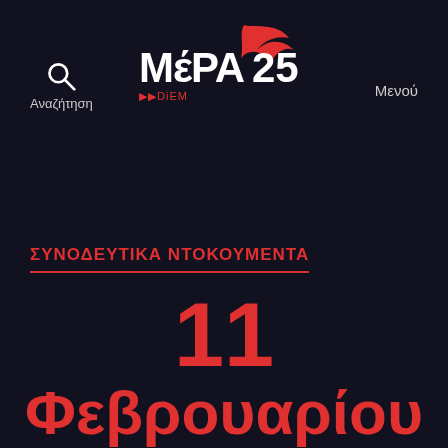[Figure (logo): MéRA25 party logo with a red swift bird and DiEM text, white and red on dark background]
Αναζήτηση
Μενού
ΣΥΝΟΔΕΥΤΙΚΑ ΝΤΟΚΟΥΜΕΝΤΑ
11 Φεβρουαρίου – Νορ παρρερ από